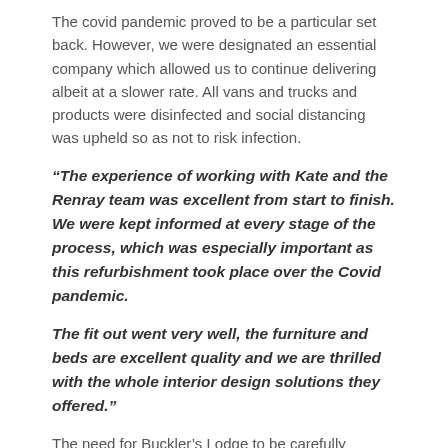The covid pandemic proved to be a particular set back. However, we were designated an essential company which allowed us to continue delivering albeit at a slower rate. All vans and trucks and products were disinfected and social distancing was upheld so as not to risk infection.
“The experience of working with Kate and the Renray team was excellent from start to finish. We were kept informed at every stage of the process, which was especially important as this refurbishment took place over the Covid pandemic.
The fit out went very well, the furniture and beds are excellent quality and we are thrilled with the whole interior design solutions they offered.”
The need for Buckler’s Lodge to be carefully designed with flexibility in space through creative furniture solutions mean residents can live independently and safely. Creating a wow factor whilst still maintaining age appropriateness and dementia friendliness. Those who seek extra safety due to mobility challenges and mobility and cognitive limitations should